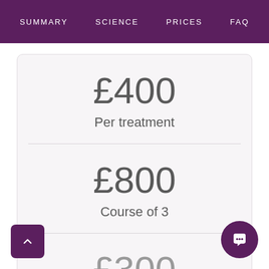SUMMARY  SCIENCE  PRICES  FAQ
£400
Per treatment
£800
Course of 3
£300
Top up